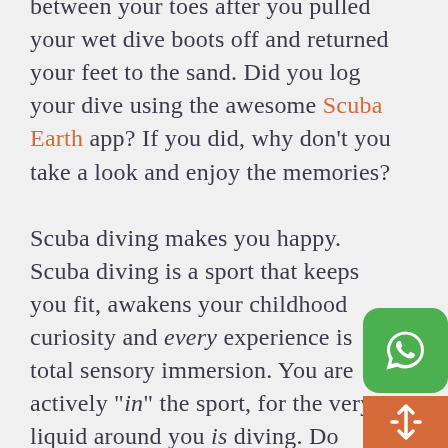between your toes after you pulled your wet dive boots off and returned your feet to the sand. Did you log your dive using the awesome Scuba Earth app? If you did, why don't you take a look and enjoy the memories?

Scuba diving makes you happy. Scuba diving is a sport that keeps you fit, awakens your childhood curiosity and every experience is total sensory immersion. You are actively "in" the sport, for the very liquid around you is diving. Do climbers become their mountain? Do footballers become the ball?
[Figure (illustration): WhatsApp chat button (green rounded square with white WhatsApp logo)]
[Figure (illustration): Scroll/navigation button (orange rectangle with white trident/scroll icon)]